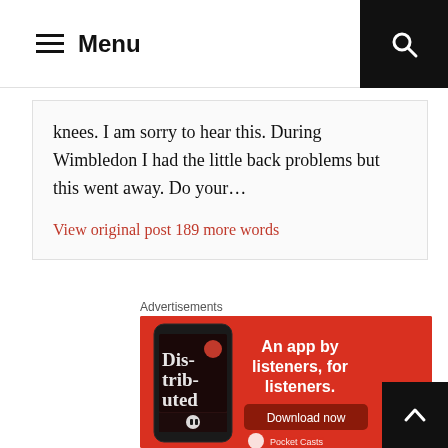Menu
knees. I am sorry to hear this. During Wimbledon I had the little back problems but this went away. Do your...
View original post 189 more words
Advertisements
[Figure (infographic): Red advertisement banner for Pocket Casts app showing a smartphone displaying a podcast episode called 'Distributed'. Text reads 'An app by listeners, for listeners.' with a 'Download now' button.]